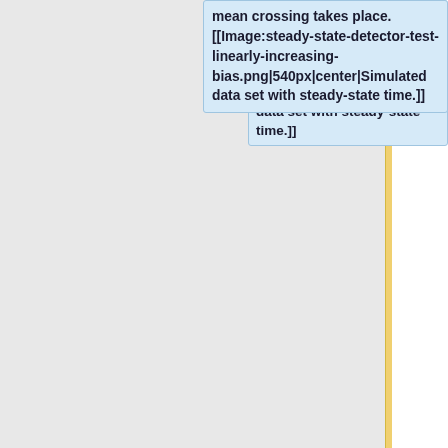mean crossing takes place. [[Image:steady-state-detector-test-linearly-increasing-bias.png|540px|center|Simulated data set with steady-state time.]]
** '''Note: The problem with the MSER-5 algorithm is that the data set with a linearly increasing bias in the above plot does NOT have a steady-state time, and